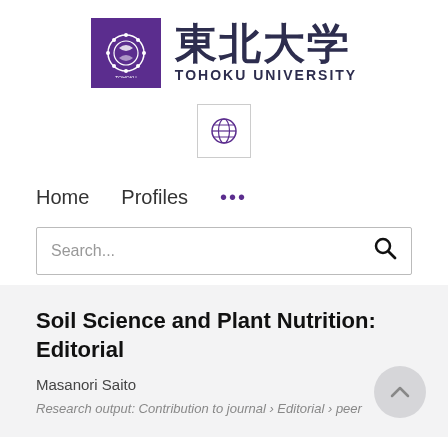[Figure (logo): Tohoku University logo: purple square with circular emblem and Japanese/English text '東北大学 TOHOKU UNIVERSITY']
[Figure (logo): Globe icon in a bordered box, representing language/region selection]
Home   Profiles   ...
Search...
Soil Science and Plant Nutrition: Editorial
Masanori Saito
Research output: Contribution to journal › Editorial › peer